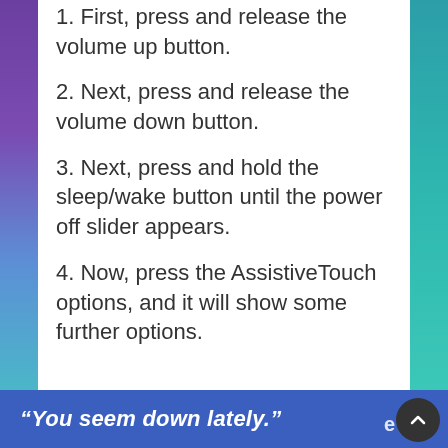1. First, press and release the volume up button.
2. Next, press and release the volume down button.
3. Next, press and hold the sleep/wake button until the power off slider appears.
4. Now, press the AssistiveTouch options, and it will show some further options.
“You seem down lately.”